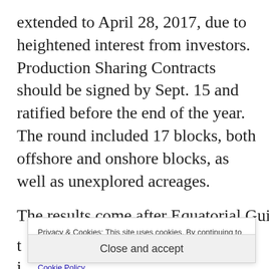extended to April 28, 2017, due to heightened interest from investors. Production Sharing Contracts should be signed by Sept. 15 and ratified before the end of the year. The round included 17 blocks, both offshore and onshore blocks, as well as unexplored acreages.
The results come after Equatorial Guinea took
Privacy & Cookies: This site uses cookies. By continuing to use this website, you agree to their use.
To find out more, including how to control cookies, see here:
Cookie Policy
Close and accept